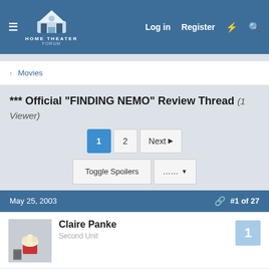HOME THEATER FORUM — Log in  Register
< Movies
*** Official "FINDING NEMO" Review Thread (1 Viewer)
Pagination: 1  2  Next
Toggle Spoilers  ...
May 25, 2003    #1 of 27
Claire Panke
Second Unit